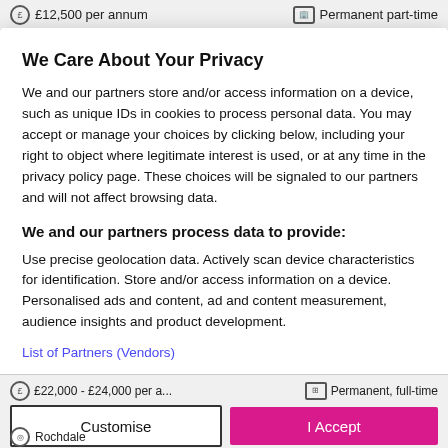£12,500 per annum   Permanent part-time
We Care About Your Privacy
We and our partners store and/or access information on a device, such as unique IDs in cookies to process personal data. You may accept or manage your choices by clicking below, including your right to object where legitimate interest is used, or at any time in the privacy policy page. These choices will be signaled to our partners and will not affect browsing data.
We and our partners process data to provide:
Use precise geolocation data. Actively scan device characteristics for identification. Store and/or access information on a device. Personalised ads and content, ad and content measurement, audience insights and product development.
List of Partners (Vendors)
£22,000 - £24,000 per a...   Permanent, full-time   Rochdale